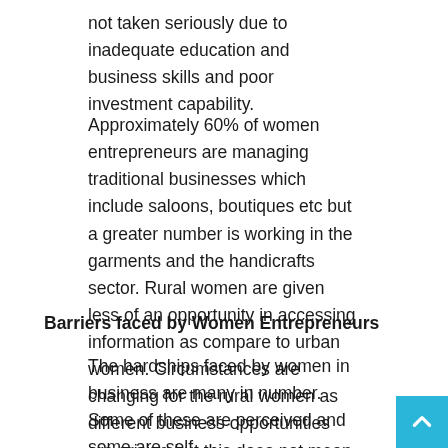not taken seriously due to inadequate education and business skills and poor investment capability.
Approximately 60% of women entrepreneurs are managing traditional businesses which include saloons, boutiques etc but a greater number is working in the garments and the handicrafts sector. Rural women are given less of an opportunity in accessing information as compare to urban women. Circumstances are changing for the rural women as different business opportunities are arising but this does not mean that they have left their traditional roles.
Barriers faced by Women Entrepreneurs
The hardships faced by women in business are many in number. Some of these are perceived and some are self – inflicted.